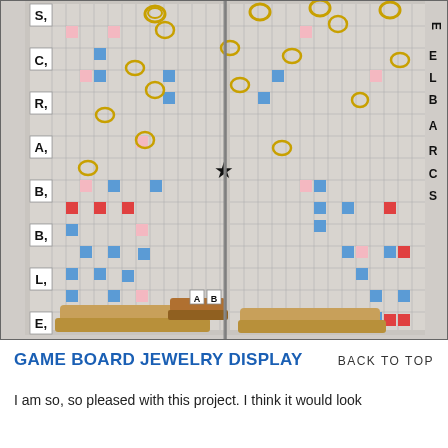[Figure (photo): A Scrabble board repurposed as a vertical jewelry display stand, showing two panels of the board folded open like a book. Gold-toned ring holders and earring hooks are mounted on the board squares. Wooden tile racks are placed at the base. The letters S, C, R, A, B, B, L, E appear vertically on the left edge and right edge of the board.]
GAME BOARD JEWELRY DISPLAY
BACK TO TOP
I am so, so pleased with this project. I think it would look